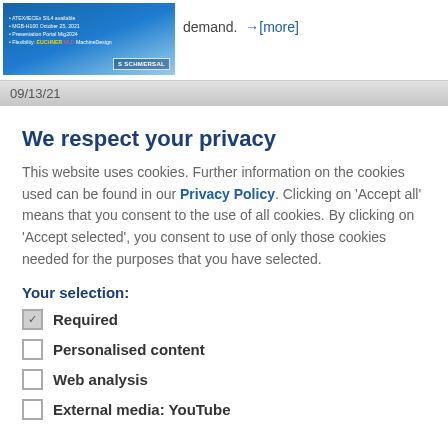[Figure (screenshot): Blue advertisement banner image with white text lines and SCHMERSAL logo in bottom-right corner]
demand. →[more]
09/13/21
We respect your privacy
This website uses cookies. Further information on the cookies used can be found in our Privacy Policy. Clicking on 'Accept all' means that you consent to the use of all cookies. By clicking on 'Accept selected', you consent to use of only those cookies needed for the purposes that you have selected.
Your selection:
Required
Personalised content
Web analysis
External media: YouTube